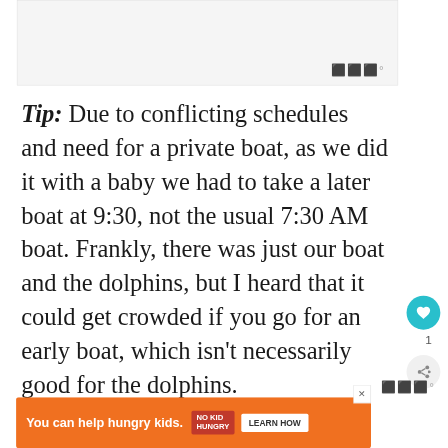[Figure (other): Gray advertisement placeholder banner at the top of the page with a small watermark logo in the bottom right corner]
Tip: Due to conflicting schedules and need for a private boat, as we did it with a baby we had to take a later boat at 9:30, not the usual 7:30 AM boat. Frankly, there was just our boat and the dolphins, but I heard that it could get crowded if you go for an early boat, which isn't necessarily good for the dolphins.
[Figure (other): Orange advertisement banner at the bottom: 'You can help hungry kids.' with No Kid Hungry logo and a 'LEARN HOW' button]